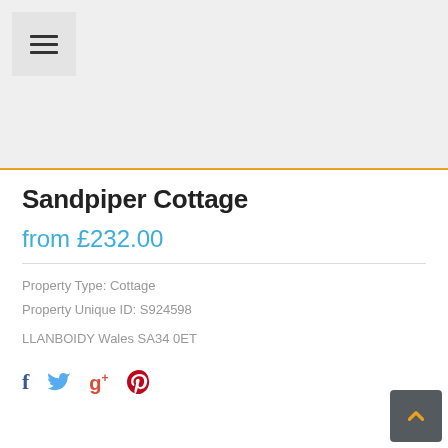[Figure (other): Menu hamburger icon button on grey header background]
Sandpiper Cottage
from £232.00
Property Type: Cottage
Property Unique ID: S924598
LLANBOIDY Wales SA34 0ET
[Figure (other): Social sharing icons: Facebook, Twitter, Google+, Pinterest]